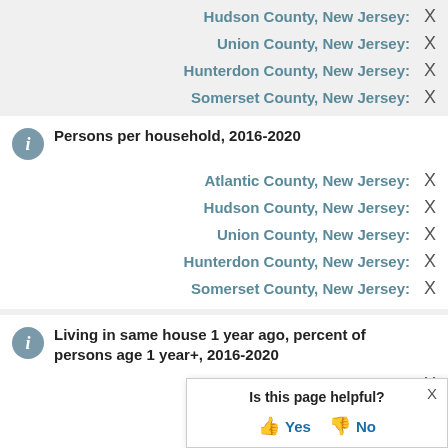Hudson County, New Jersey: X
Union County, New Jersey: X
Hunterdon County, New Jersey: X
Somerset County, New Jersey: X
Persons per household, 2016-2020
Atlantic County, New Jersey: X
Hudson County, New Jersey: X
Union County, New Jersey: X
Hunterdon County, New Jersey: X
Somerset County, New Jersey: X
Living in same house 1 year ago, percent of persons age 1 year+, 2016-2020
Atlantic County, New Jersey: X
Hudson County, New Jersey: X
Union County, New Jersey: X
Is this page helpful? Yes No